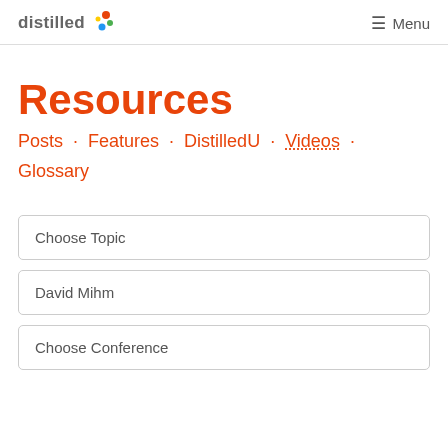distilled  Menu
Resources
Posts · Features · DistilledU · Videos · Glossary
Choose Topic
David Mihm
Choose Conference